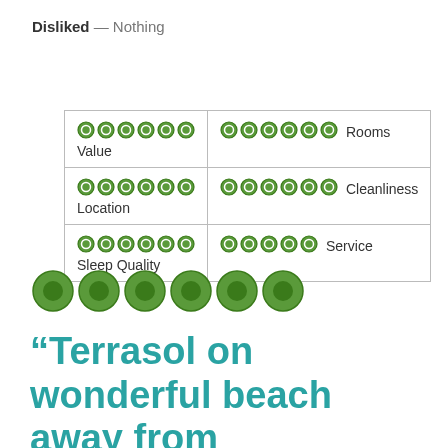Disliked — Nothing
| ⊙⊙⊙⊙⊙⊙
Value | ⊙⊙⊙⊙⊙⊙  Rooms |
| ⊙⊙⊙⊙⊙⊙
Location | ⊙⊙⊙⊙⊙⊙  Cleanliness |
| ⊙⊙⊙⊙⊙⊙
Sleep Quality | ⊙⊙⊙⊙⊙  Service |
[Figure (other): Five large green filled circles (rating bubbles) representing a 5-out-of-5 rating]
“Terrasol on wonderful beach away from